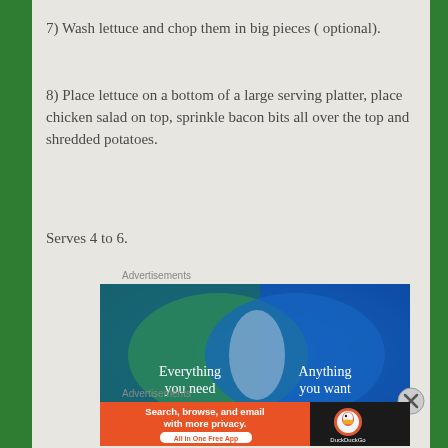7) Wash lettuce and chop them in big pieces ( optional).
8) Place lettuce on a bottom of a large serving platter, place chicken salad on top, sprinkle bacon bits all over the top and shredded potatoes.
Serves 4 to 6.
Advertisements
[Figure (infographic): DuckDuckGo advertisement showing a Venn diagram with two overlapping circles on a blue-green gradient background. Left circle text: 'Everything you need', right circle text: 'Anything you want', with a lighter overlapping region in the center.]
Advertisements
[Figure (infographic): DuckDuckGo advertisement banner with orange background on the left showing 'Search, browse, and email with more privacy. All in One Free App' and dark background on the right with DuckDuckGo duck logo and 'DuckDuckGo' text.]